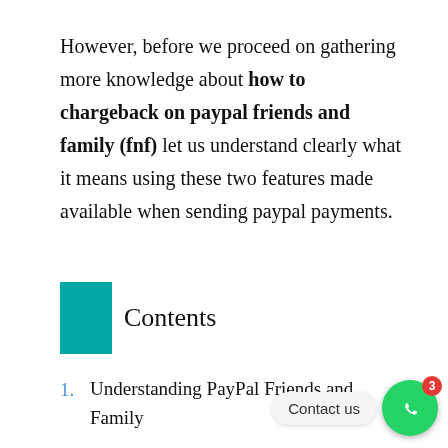However, before we proceed on gathering more knowledge about how to chargeback on paypal friends and family (fnf) let us understand clearly what it means using these two features made available when sending paypal payments.
Contents
1. Understanding PayPal Friends and Family
2. PayPal Goods and Services feature
3. Advantages of PayPal G... over friends and family payments